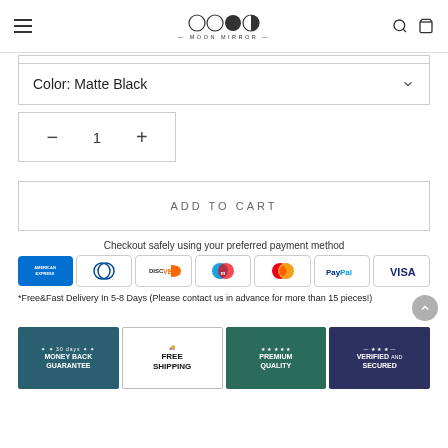Moon Mirror — navigation header with hamburger menu, logo, search and cart icons
Color: Matte Black
1
ADD TO CART
Checkout safely using your preferred payment method
[Figure (infographic): Row of payment method icons: American Express, Diners Club, Discover, Maestro, Mastercard, PayPal, Visa]
*Free&Fast Delivery In 5-8 Days (Please contact us in advance for more than 15 pieces!)
[Figure (infographic): Four trust badges: 30 Days Money Back Guarantee, Free Shipping, Premium Quality, Verified and Secured]